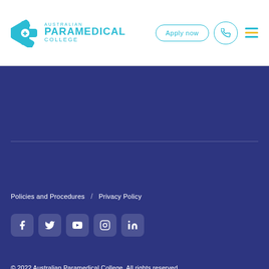[Figure (logo): Australian Paramedical College logo with star-of-life icon in cyan/teal and text]
Apply now
Policies and Procedures / Privacy Policy
Social media icons: Facebook, Twitter, YouTube, Instagram, LinkedIn
© 2022 Australian Paramedical College. All rights reserved.
* APC provides education and training pathways to become a registered Ambulance Paramedic by way of a university degree. We recommend checking with your chosen university before eliting...